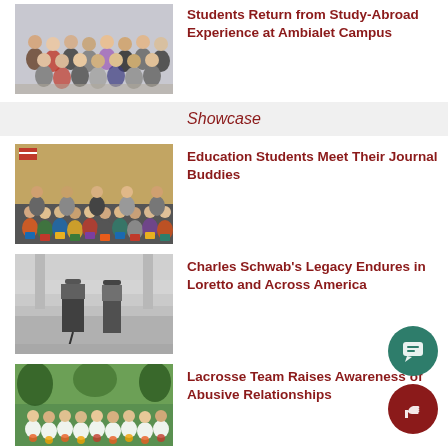[Figure (photo): Group photo of students indoors]
Students Return from Study-Abroad Experience at Ambialet Campus
Showcase
[Figure (photo): Group photo of education students holding journals]
Education Students Meet Their Journal Buddies
[Figure (photo): Black and white photo of Charles Schwab on steps]
Charles Schwab's Legacy Endures in Loretto and Across America
[Figure (photo): Lacrosse team group photo outdoors]
Lacrosse Team Raises Awareness of Abusive Relationships